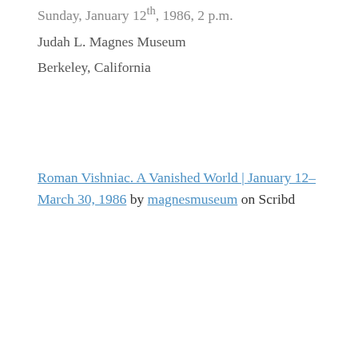Sunday, January 12th, 1986, 2 p.m.
Judah L. Magnes Museum
Berkeley, California
Roman Vishniac. A Vanished World | January 12–March 30, 1986 by magnesmuseum on Scribd